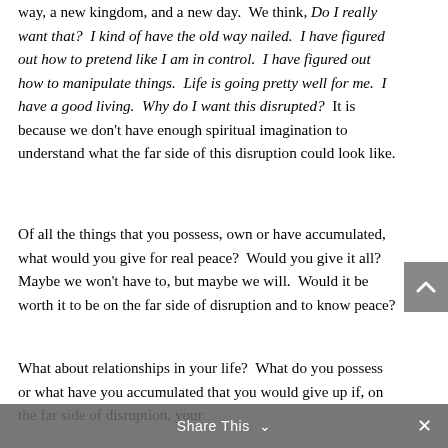way, a new kingdom, and a new day.  We think, Do I really want that?  I kind of have the old way nailed.  I have figured out how to pretend like I am in control.  I have figured out how to manipulate things.  Life is going pretty well for me.  I have a good living.  Why do I want this disrupted?  It is because we don't have enough spiritual imagination to understand what the far side of this disruption could look like.
Of all the things that you possess, own or have accumulated, what would you give for real peace?  Would you give it all?  Maybe we won't have to, but maybe we will.  Would it be worth it to be on the far side of disruption and to know peace?
What about relationships in your life?  What do you possess or what have you accumulated that you would give up if, on the far side of disruption, your
Share This ∨  ×